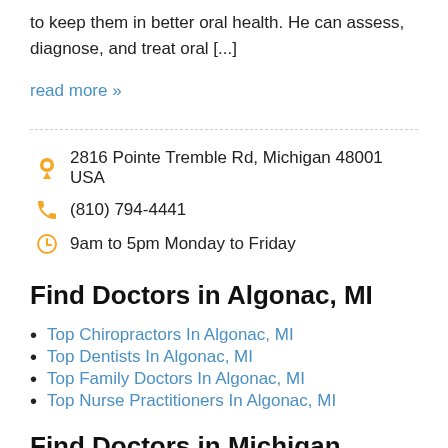to keep them in better oral health. He can assess, diagnose, and treat oral [...]
read more »
2816 Pointe Tremble Rd, Michigan 48001 USA
(810) 794-4441
9am to 5pm Monday to Friday
Find Doctors in Algonac, MI
Top Chiropractors In Algonac, MI
Top Dentists In Algonac, MI
Top Family Doctors In Algonac, MI
Top Nurse Practitioners In Algonac, MI
Find Doctors in Michigan